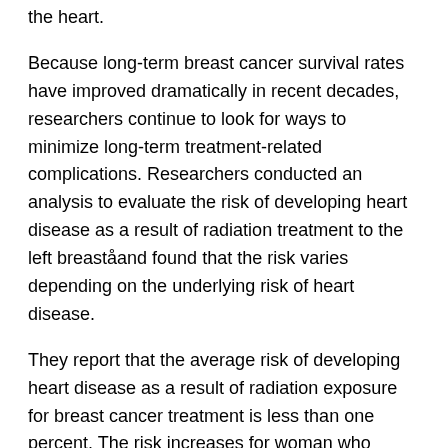the heart.
Because long-term breast cancer survival rates have improved dramatically in recent decades, researchers continue to look for ways to minimize long-term treatment-related complications. Researchers conducted an analysis to evaluate the risk of developing heart disease as a result of radiation treatment to the left breaståand found that the risk varies depending on the underlying risk of heart disease.
They report that the average risk of developing heart disease as a result of radiation exposure for breast cancer treatment is less than one percent. The risk increases for woman who already have a high underlying risk of developing heart diseaseâin these cases, the risk may be as high as 1 in 30. In contrast, women who already have a very low underlying risk of heart disease may face odds as low as 1 in 3000, which is a tiny risk.